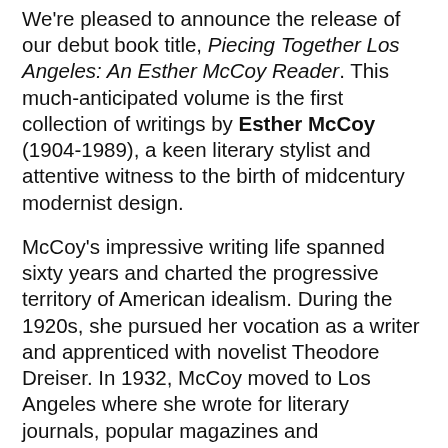We're pleased to announce the release of our debut book title, Piecing Together Los Angeles: An Esther McCoy Reader. This much-anticipated volume is the first collection of writings by Esther McCoy (1904-1989), a keen literary stylist and attentive witness to the birth of midcentury modernist design.
McCoy's impressive writing life spanned sixty years and charted the progressive territory of American idealism. During the 1920s, she pursued her vocation as a writer and apprenticed with novelist Theodore Dreiser. In 1932, McCoy moved to Los Angeles where she wrote for literary journals, popular magazines and progressive broadsheets. Her short stories were awarded numerous prizes, featured in publications ranging from Harper's Bazaar to